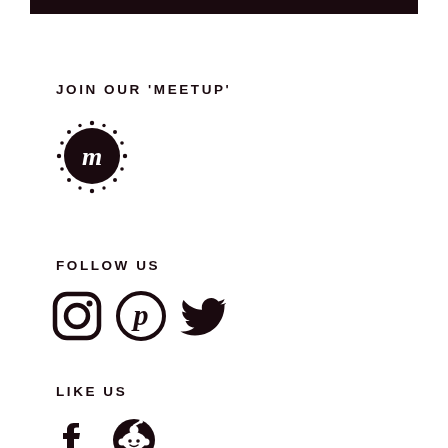[Figure (other): Dark top bar / header band]
JOIN OUR ‘MEETUP’
[Figure (logo): Meetup logo - circular icon with stylized letter m and dot border]
FOLLOW US
[Figure (other): Social media icons row: Instagram, Pinterest, Twitter]
LIKE US
[Figure (other): Social media icons row: Facebook, Reddit]